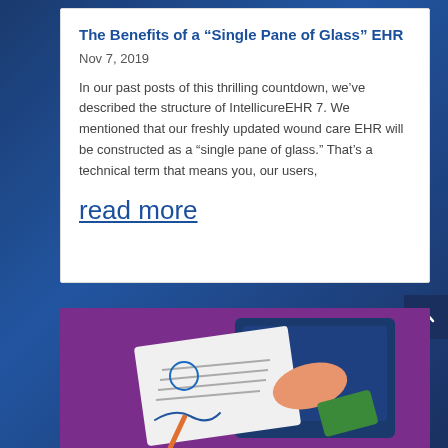The Benefits of a “Single Pane of Glass” EHR
Nov 7, 2019
In our past posts of this thrilling countdown, we’ve described the structure of IntellicureEHR 7. We mentioned that our freshly updated wound care EHR will be constructed as a “single pane of glass.” That’s a technical term that means you, our users,
read more
[Figure (illustration): Illustration of a hand holding a document with a pen signing it, emerging from a tablet/laptop screen, on a purple background.]